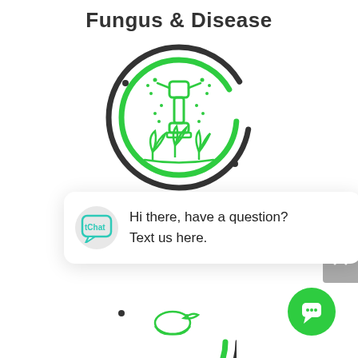Fungus & Disease
[Figure (illustration): Circular icon with dark outer ring and green inner ring, containing a green line-art sprinkler/irrigation device spraying water droplets over plants]
[Figure (infographic): Chat popup widget with tChat logo avatar and message: Hi there, have a question? Text us here.]
Hi there, have a question?
Text us here.
[Figure (illustration): Partial circular icon (bottom half visible) with dark outer ring and green inner ring, containing a green bird/duck illustration]